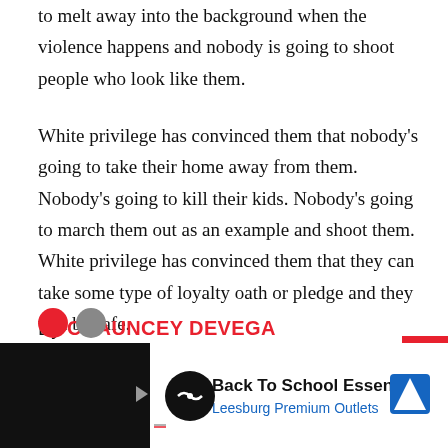to melt away into the background when the violence happens and nobody is going to shoot people who look like them.
White privilege has convinced them that nobody's going to take their home away from them. Nobody's going to kill their kids. Nobody's going to march them out as an example and shoot them. White privilege has convinced them that they can take some type of loyalty oath or pledge and they will be safe.
By CHAUNCEY DEVEGA
[Figure (other): Advertisement banner at the bottom: Back To School Essentials - Leesburg Premium Outlets, with black background and white ad block containing a black circular logo and blue diamond arrow icon.]